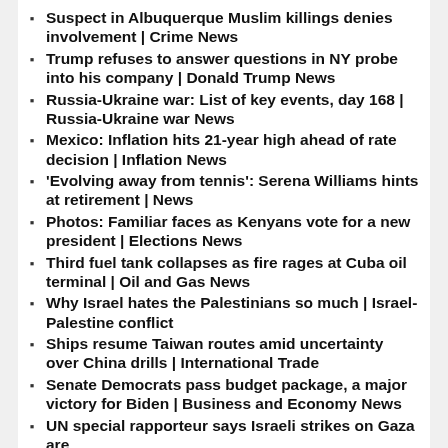Suspect in Albuquerque Muslim killings denies involvement | Crime News
Trump refuses to answer questions in NY probe into his company | Donald Trump News
Russia-Ukraine war: List of key events, day 168 | Russia-Ukraine war News
Mexico: Inflation hits 21-year high ahead of rate decision | Inflation News
'Evolving away from tennis': Serena Williams hints at retirement | News
Photos: Familiar faces as Kenyans vote for a new president | Elections News
Third fuel tank collapses as fire rages at Cuba oil terminal | Oil and Gas News
Why Israel hates the Palestinians so much | Israel-Palestine conflict
Ships resume Taiwan routes amid uncertainty over China drills | International Trade
Senate Democrats pass budget package, a major victory for Biden | Business and Economy News
UN special rapporteur says Israeli strikes on Gaza are